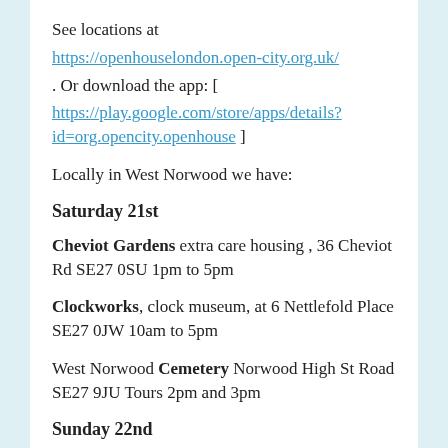See locations at
https://openhouselondon.open-city.org.uk/
. Or download the app: [
https://play.google.com/store/apps/details?id=org.opencity.openhouse ]
Locally in West Norwood we have:
Saturday 21st
Cheviot Gardens extra care housing , 36 Cheviot Rd SE27 0SU 1pm to 5pm
Clockworks, clock museum, at 6 Nettlefold Place SE27 0JW 10am to 5pm
West Norwood Cemetery Norwood High St Road SE27 9JU Tours 2pm and 3pm
Sunday 22nd